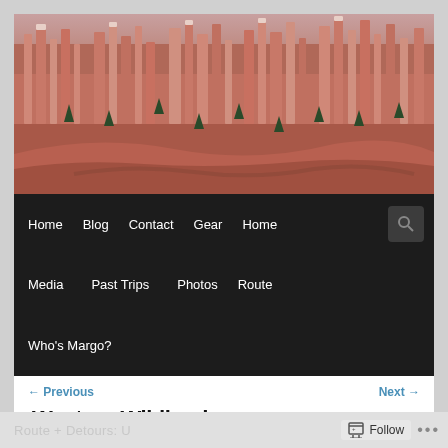[Figure (photo): Panoramic photo of Bryce Canyon red rock hoodoo formations with scattered evergreen trees, warm pinkish-red tones, taken at dawn or dusk]
Home   Blog   Contact   Gear   Home   [search icon]
Media   Past Trips   Photos   Route
Who's Margo?
← Previous   Next →
Western Wildlands
Route + Detours: U...   Follow   ...